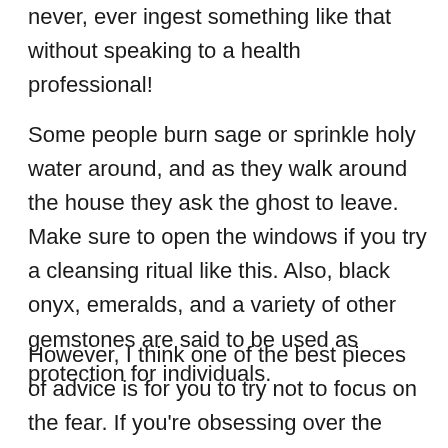never, ever ingest something like that without speaking to a health professional!
Some people burn sage or sprinkle holy water around, and as they walk around the house they ask the ghost to leave. Make sure to open the windows if you try a cleansing ritual like this. Also, black onyx, emeralds, and a variety of other gemstones are said to be used as protection for individuals.
However, I think one of the best pieces of advice is for you to try not to focus on the fear. If you're obsessing over the entity, you're giving away your power. As hard as it may be, try to focus more on